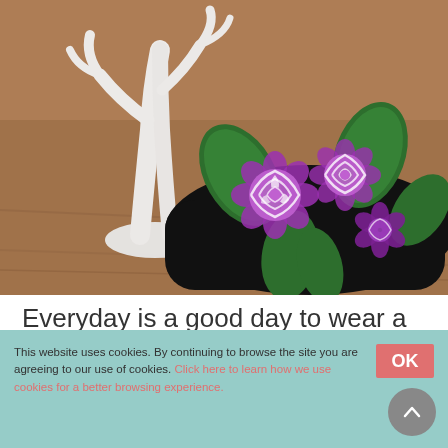[Figure (photo): Close-up photo of a black felt headband decorated with purple/pink felt flowers with white swirl patterns and green felt leaves, displayed on a white decorative antler stand on a wooden surface.]
Everyday is a good day to wear a nice felt flowers headband.
This website uses cookies. By continuing to browse the site you are agreeing to our use of cookies. Click here to learn how we use cookies for a better browsing experience.